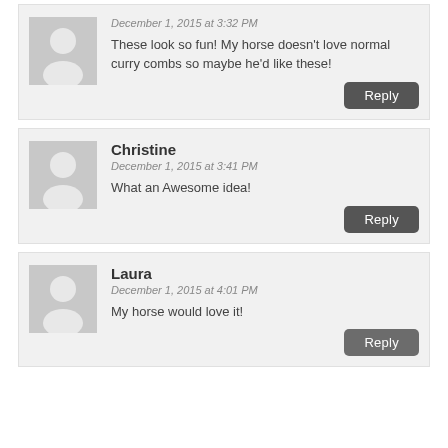December 1, 2015 at 3:32 PM
These look so fun! My horse doesn't love normal curry combs so maybe he'd like these!
Christine
December 1, 2015 at 3:41 PM
What an Awesome idea!
Laura
December 1, 2015 at 4:01 PM
My horse would love it!